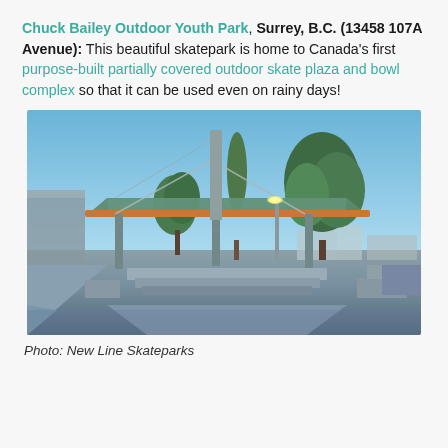Chuck Bailey Outdoor Youth Park, Surrey, B.C. (13458 107A Avenue): This beautiful skatepark is home to Canada's first purpose-built partially covered outdoor skate plaza and bowl complex so that it can be used even on rainy days!
[Figure (photo): Outdoor skatepark at dusk showing a large covered canopy structure supported by cables and pillars, with skate ramps, concrete ledges, and trees in the background under a clear blue sky.]
Photo: New Line Skateparks